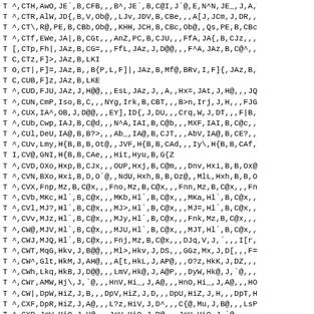T ^,CTH,AwO,JE`,B,CFB,,,B^,JE`,B,C@I,J`@,E,N^N,JE_,J,A,
T ^,CTR,AlW,JD{,B,V,Ob@,,LJv,JDV,B,CBe,,,A[J,JCm,J,DR,,
T ^,CT\,R@,PE,B,CBb,Ob@,,KHH,JCH,B,CBc,Ob@,,Qs,PE,B,CBc
T ^,CTf,EWe,JA|,B,CGt,,,AnZ,PC,B,CJU,,,FfA,JA{,B,CJz,,,
T [,CTp,Fh|,JAz,B,CG=,,,FfL,JAz,J,D@@,,,F^A,JAz,B,C@^,,
T C,CTz,F]>,JAz,B,LKI
T O,CT|,F]=,JAz,B,,B{P,L,F]|,JAz,B,Mf@,BRv,I,F]{,JAz,B,
T C,CUB,F]z,JAz,B,LKE
T ^,CUD,FJU,JAz,J,H@@,,,EsL,JAz,J,,A,,Hx=,JAt,J,H@,,,JQ
T ^,CUN,CmP,Iso,B,C,,,NYg,Irk,B,CBT,,,B>n,Irj,J,H,,,FJG
T ^,CUX,IA^,OB,J,D@@,,,EY],ID{,J,DU,,,Crq,W,J,DT,,,F|B,
T ^,CUb,Cwp,IAJ,B,C@d,,,N^A,IAI,B,C@b,,,MXF,IAI,B,C@c,,
T ^,CUl,DeU,IA@,B,B?>,,,Ab_,IA@,B,CJT,,,AbV,IA@,B,CE?,,
T ^,CUv,Lmy,H{B,B,B,Ot@,,JVF,H{B,B,CAd,,,Iy\,H{B,B,CAf,
T I,CV@,GNI,H{B,B,CAe,,,Hit,Hyu,B,G{Z
T ^,CVD,OXo,Hxp,B,CJx,,,OUP,Hxj,B,C@m,,,Dnv,Hxi,B,B,Ox@
T ^,CVN,BXo,Hxi,B,D,O`@,,NdU,Hxh,B,B,Oz@,,MlL,Hxh,B,B,O
T ^,CVX,Fnp,Mz,B,C@x,,,Fno,Mz,B,C@x,,,Fnn,Mz,B,C@x,,,Fn
T ^,CVb,MKc,Hl`,B,C@x,,,MKb,Hl`,B,C@x,,,MKa,Hl`,B,C@x,,
T ^,CVl,MJ?,Hl`,B,C@x,,,MJ>,Hl`,B,C@x,,,MJ=,Hl`,B,C@x,,
T ^,CVv,MJz,Hl`,B,C@x,,,MJy,Hl`,B,C@x,,,Fnk,Mz,B,C@x,,,
T ^,CW@,MJV,Hl`,B,C@x,,,MJU,Hl`,B,C@x,,,MJT,Hl`,B,C@x,,
T ^,CWJ,MJQ,Hl`,B,C@x,,,Fnj,Mz,B,C@x,,,DJq,V,J,`,,,I[r,
T ^,CWT,MqG,Hkv,J,B@@,,,Ml>,Hkv,J,DS,,,GGz,Mx,J,D[,,,F=
T ^,CW^,Glt,HkM,J,AH@,,,A[t,HkL,J,AP@,,,O?z,HkK,J,DZ,,,
T ^,CWh,Lkq,HkB,J,D@@,,,LmV,Hk@,J,A@P,,,DyW,Hk@,J,`@,,,
T ^,CWr,AMW,Hj\,J,`@,,,HnV,Hi_,J,A@,,,HnO,Hi_,J,A@,,,HO
T ^,CW|,DpW,HiZ,J,B,,,DpV,HiZ,J,D,,,DpU,HiZ,J,H,,,DpT,H
T ^,CXF,DpR,HiZ,J,A@,,,L?z,HiV,J,D^,,,C{@,Mu,J,B@,,,LsP
T ^,CXP,JcW,HiO,J,H@,,,JcV,HiO,J,P@,,,JcU,HiO,J,`@,,,